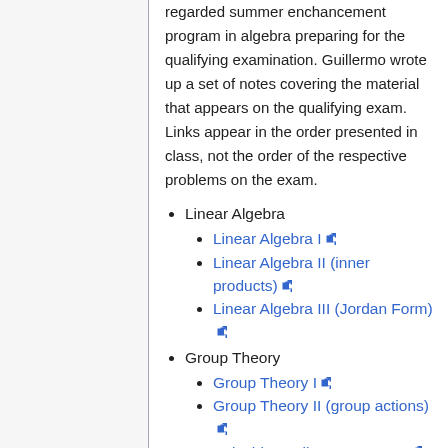regarded summer enchancement program in algebra preparing for the qualifying examination. Guillermo wrote up a set of notes covering the material that appears on the qualifying exam. Links appear in the order presented in class, not the order of the respective problems on the exam.
Linear Algebra
Linear Algebra I [external link]
Linear Algebra II (inner products) [external link]
Linear Algebra III (Jordan Form) [external link]
Group Theory
Group Theory I [external link]
Group Theory II (group actions) [external link]
Solvable & Nilpotent Groups [external link]
Theorems for non-simplicity [external link]